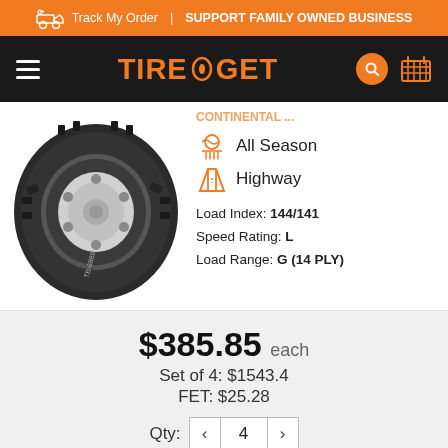Track My Order | SUPPORT FAMILY OWNED BUSINESS
TIRE GET (navigation bar with logo, hamburger menu, search, cart)
[Figure (photo): Commercial truck/semi tire photo showing tread pattern and wheel hub]
All Season
Highway
Load Index: 144/141
Speed Rating: L
Load Range: G (14 PLY)
$385.85 each
Set of 4: $1543.4
FET: $25.28
Qty: 4